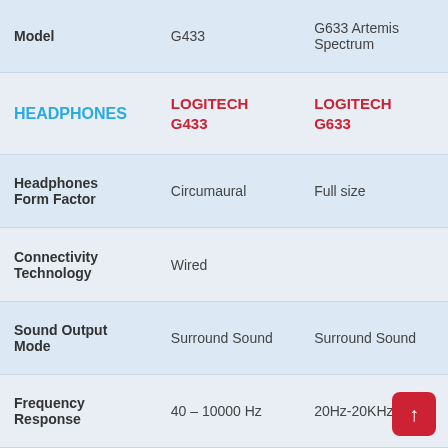|  | G433 | G633 Artemis Spectrum |
| --- | --- | --- |
| Model | G433 | G633 Artemis Spectrum |
| HEADPHONES | LOGITECH G433 | LOGITECH G633 |
| Headphones Form Factor | Circumaural | Full size |
| Connectivity Technology | Wired |  |
| Sound Output Mode | Surround Sound | Surround Sound |
| Frequency Response | 40 – 10000 Hz | 20Hz-20KHz |